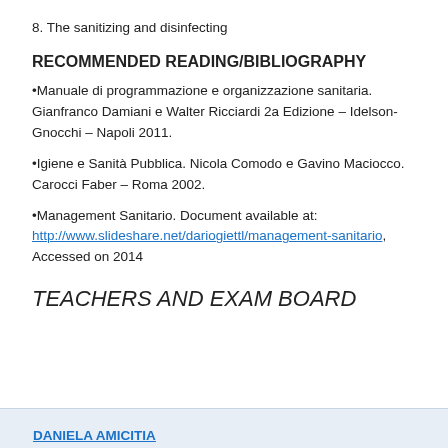8. The sanitizing and disinfecting
RECOMMENDED READING/BIBLIOGRAPHY
•Manuale di programmazione e organizzazione sanitaria. Gianfranco Damiani e Walter Ricciardi 2a Edizione – Idelson-Gnocchi – Napoli 2011.
•Igiene e Sanità Pubblica. Nicola Comodo e Gavino Maciocco. Carocci Faber – Roma 2002.
•Management Sanitario. Document available at: http://www.slideshare.net/dariogiettl/management-sanitario, Accessed on 2014
TEACHERS AND EXAM BOARD
| DANIELA AMICITIA |